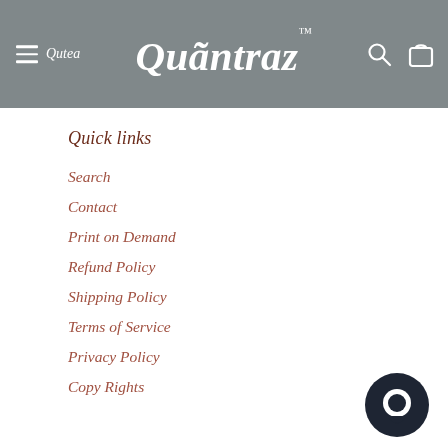Quantraz
Quick links
Search
Contact
Print on Demand
Refund Policy
Shipping Policy
Terms of Service
Privacy Policy
Copy Rights
[Figure (logo): Chat bubble icon, dark navy circle with speech bubble cutout]